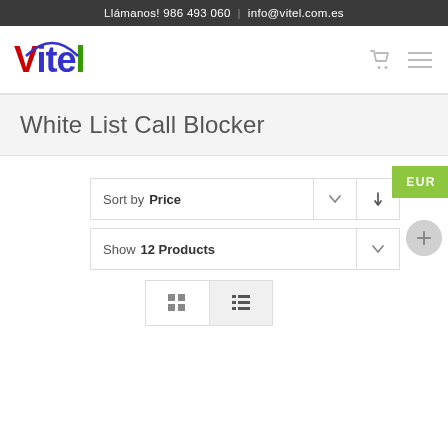Llámanos! 986 493 060  |  info@vitel.com.es
[Figure (logo): Vitel logo with colored letters (V in red, itel in blue/green) and a blue arc above]
White List Call Blocker
Sort by Price
Show 12 Products